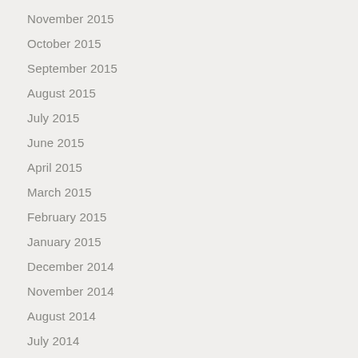November 2015
October 2015
September 2015
August 2015
July 2015
June 2015
April 2015
March 2015
February 2015
January 2015
December 2014
November 2014
August 2014
July 2014